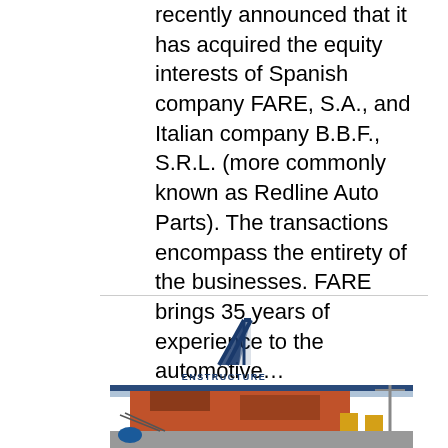recently announced that it has acquired the equity interests of Spanish company FARE, S.A., and Italian company B.B.F., S.R.L. (more commonly known as Redline Auto Parts). The transactions encompass the entirety of the businesses. FARE brings 35 years of experience to the automotive…
[Figure (logo): Enstructure company logo — diagonal lines forming a triangle/arrow shape above the word ENSTRUCTURE in navy blue capital letters]
[Figure (photo): Port/dock scene showing a large orange ship hull, yellow forklifts, and industrial port equipment]